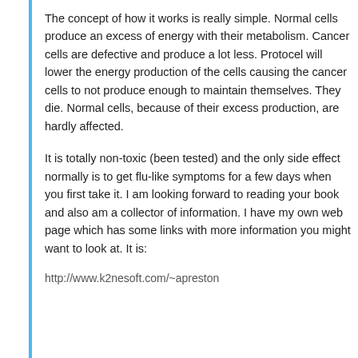The concept of how it works is really simple. Normal cells produce an excess of energy with their metabolism. Cancer cells are defective and produce a lot less. Protocel will lower the energy production of the cells causing the cancer cells to not produce enough to maintain themselves. They die. Normal cells, because of their excess production, are hardly affected.
It is totally non-toxic (been tested) and the only side effect normally is to get flu-like symptoms for a few days when you first take it. I am looking forward to reading your book and also am a collector of information. I have my own web page which has some links with more information you might want to look at. It is:
http://www.k2nesoft.com/~apreston